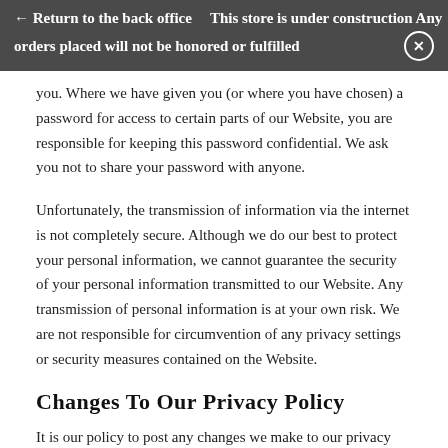← Return to the back office   This store is under construction Any orders placed will not be honored or fulfilled  ✕
you. Where we have given you (or where you have chosen) a password for access to certain parts of our Website, you are responsible for keeping this password confidential. We ask you not to share your password with anyone.
Unfortunately, the transmission of information via the internet is not completely secure. Although we do our best to protect your personal information, we cannot guarantee the security of your personal information transmitted to our Website. Any transmission of personal information is at your own risk. We are not responsible for circumvention of any privacy settings or security measures contained on the Website.
Changes To Our Privacy Policy
It is our policy to post any changes we make to our privacy policy on this page. If we make material changes to how we